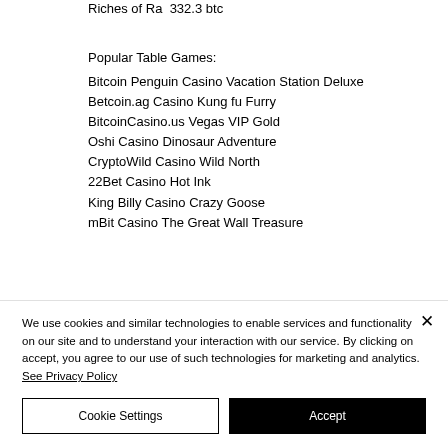Riches of Ra  332.3 btc
Popular Table Games:
Bitcoin Penguin Casino Vacation Station Deluxe
Betcoin.ag Casino Kung fu Furry
BitcoinCasino.us Vegas VIP Gold
Oshi Casino Dinosaur Adventure
CryptoWild Casino Wild North
22Bet Casino Hot Ink
King Billy Casino Crazy Goose
mBit Casino The Great Wall Treasure
We use cookies and similar technologies to enable services and functionality on our site and to understand your interaction with our service. By clicking on accept, you agree to our use of such technologies for marketing and analytics. See Privacy Policy
Cookie Settings | Accept